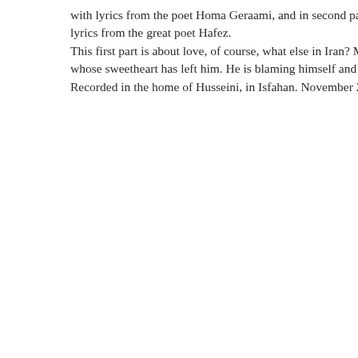with lyrics from the poet Homa Geraami, and in second part lyrics from the great poet Hafez. This first part is about love, of course, what else in Iran? whose sweetheart has left him. He is blaming himself and ca Recorded in the home of Husseini, in Isfahan. November 201